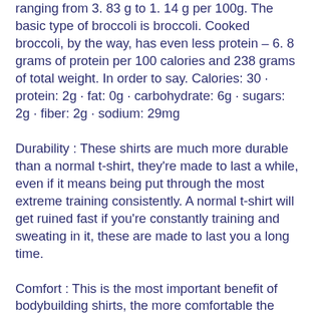ranging from 3. 83 g to 1. 14 g per 100g. The basic type of broccoli is broccoli. Cooked broccoli, by the way, has even less protein – 6. 8 grams of protein per 100 calories and 238 grams of total weight. In order to say. Calories: 30 · protein: 2g · fat: 0g · carbohydrate: 6g · sugars: 2g · fiber: 2g · sodium: 29mg
Durability : These shirts are much more durable than a normal t-shirt, they're made to last a while, even if it means being put through the most extreme training consistently. A normal t-shirt will get ruined fast if you're constantly training and sweating in it, these are made to last you a long time.
Comfort : This is the most important benefit of bodybuilding shirts, the more comfortable the better you're going to feel during your training, broccoli protein. You don't want to be wearing a shirt that isn't comfortable and constantly irritating your skin or restricting